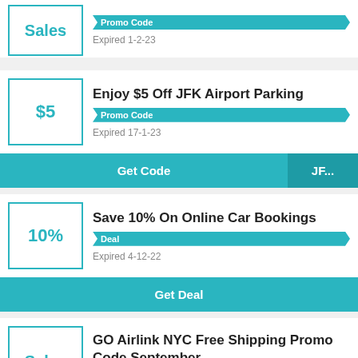[Figure (infographic): Partial coupon card at top with 'Sales' value box, 'Promo Code' badge, 'Expired 1-2-23', and Get Code button showing GAS50]
[Figure (infographic): Coupon card: Enjoy $5 Off JFK Airport Parking, Promo Code badge, Expired 17-1-23, Get Code button showing JF...]
[Figure (infographic): Coupon card: Save 10% On Online Car Bookings, Deal badge, Expired 4-12-22, Get Deal button]
[Figure (infographic): Partial coupon card at bottom: GO Airlink NYC Free Shipping Promo Code September, Sales value box, Deal badge (partially visible)]